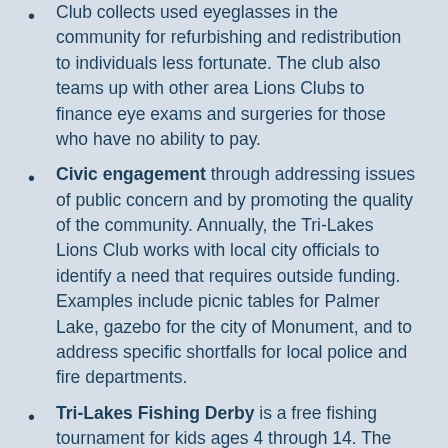Club collects used eyeglasses in the community for refurbishing and redistribution to individuals less fortunate. The club also teams up with other area Lions Clubs to finance eye exams and surgeries for those who have no ability to pay.
Civic engagement through addressing issues of public concern and by promoting the quality of the community. Annually, the Tri-Lakes Lions Club works with local city officials to identify a need that requires outside funding. Examples include picnic tables for Palmer Lake, gazebo for the city of Monument, and to address specific shortfalls for local police and fire departments.
Tri-Lakes Fishing Derby is a free fishing tournament for kids ages 4 through 14. The derby is a family-oriented activity that hosts well over 200 children. Prizes are awarded to the winners by age category. The Tri-Lakes Lions Club orchestrates the derby each year at Palmer Lake. The club, along with its many